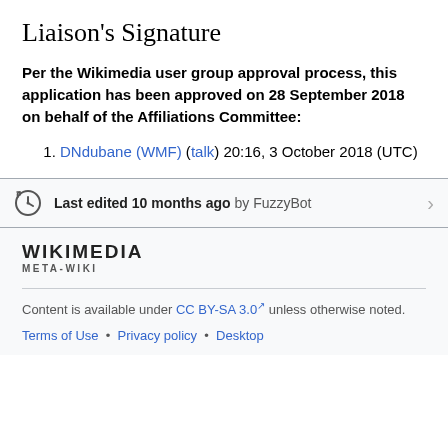Liaison's Signature
Per the Wikimedia user group approval process, this application has been approved on 28 September 2018 on behalf of the Affiliations Committee:
DNdubane (WMF) (talk) 20:16, 3 October 2018 (UTC)
Last edited 10 months ago by FuzzyBot
[Figure (logo): Wikimedia Meta-Wiki logo text]
Content is available under CC BY-SA 3.0 unless otherwise noted.
Terms of Use • Privacy policy • Desktop